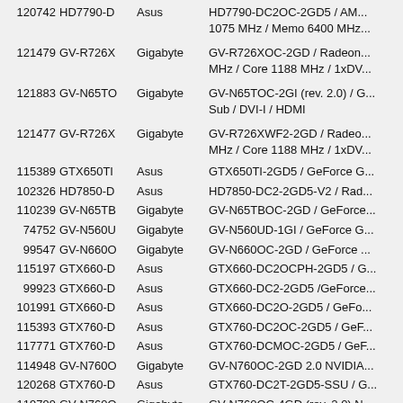| PID | MPN | Producer | Product name |
| --- | --- | --- | --- |
| 120742 | HD7790-D | Asus | HD7790-DC2OC-2GD5 / AM... 1075 MHz / Memo 6400 MHz... |
| 121479 | GV-R726X | Gigabyte | GV-R726XOC-2GD / Radeon... MHz / Core 1188 MHz / 1xDV... |
| 121883 | GV-N65TO | Gigabyte | GV-N65TOC-2GI (rev. 2.0) / G... Sub / DVI-I / HDMI |
| 121477 | GV-R726X | Gigabyte | GV-R726XWF2-2GD / Radeo... MHz / Core 1188 MHz / 1xDV... |
| 115389 | GTX650TI | Asus | GTX650TI-2GD5 / GeForce G... |
| 102326 | HD7850-D | Asus | HD7850-DC2-2GD5-V2 / Rad... |
| 110239 | GV-N65TB | Gigabyte | GV-N65TBOC-2GD / GeForce... |
| 74752 | GV-N560U | Gigabyte | GV-N560UD-1GI / GeForce G... |
| 99547 | GV-N660O | Gigabyte | GV-N660OC-2GD / GeForce ... |
| 115197 | GTX660-D | Asus | GTX660-DC2OCPH-2GD5 / G... |
| 99923 | GTX660-D | Asus | GTX660-DC2-2GD5 /GeForce... |
| 101991 | GTX660-D | Asus | GTX660-DC2O-2GD5 / GeFo... |
| 115393 | GTX760-D | Asus | GTX760-DC2OC-2GD5 / GeF... |
| 117771 | GTX760-D | Asus | GTX760-DCMOC-2GD5 / GeF... |
| 114948 | GV-N760O | Gigabyte | GV-N760OC-2GD 2.0 NVIDIA... |
| 120268 | GTX760-D | Asus | GTX760-DC2T-2GD5-SSU / G... |
| 119799 | GV-N760O | Gigabyte | GV-N760OC-4GD (rev. 2.0) N... |
| PID | MPN | Producer | Product name |
| 114231 | GV-N770O | Gigabyte | GV-N770OC-2GD 1.0 NVIDIA... |